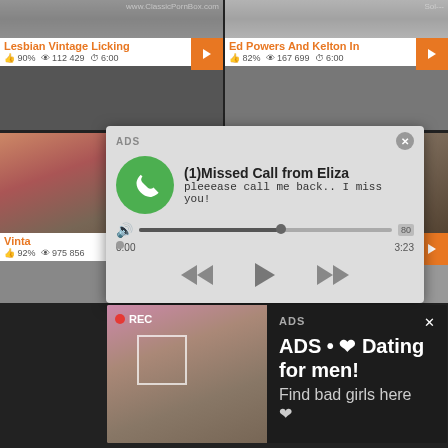[Figure (screenshot): Porn video thumbnail grid showing two video cards: 'Lesbian Vintage Licking' with 90% rating, 112 429 views, 6:00 duration; and 'Ed Powers And Kelton In' with 82% rating, 167 699 views, 6:00 duration]
[Figure (screenshot): Audio ad popup overlay showing a missed call notification: '(1)Missed Call from Eliza' with message 'pleeease call me back.. I miss you!' and audio player controls showing time 0:00 to 3:23]
[Figure (screenshot): Bottom section of video grid showing partial titles 'Vinta...' with 92% ratings, 975 856 and 876 659 views]
[Figure (screenshot): Dating ad popup overlay with REC badge, woman photo, and text 'ADS • ❤ Dating for men! Find bad girls here ❤']